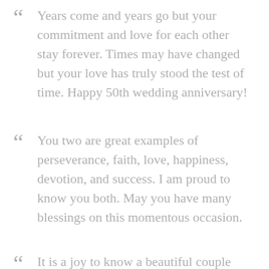Years come and years go but your commitment and love for each other stay forever. Times may have changed but your love has truly stood the test of time. Happy 50th wedding anniversary!
You two are great examples of perseverance, faith, love, happiness, devotion, and success. I am proud to know you both. May you have many blessings on this momentous occasion.
It is a joy to know a beautiful couple…